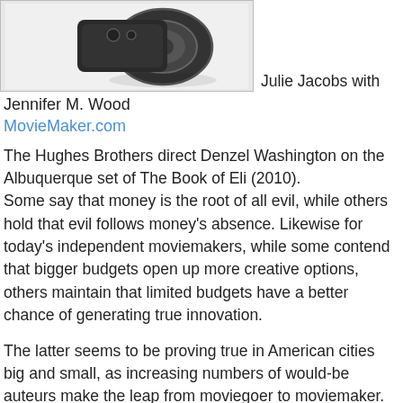[Figure (photo): Partial view of a film camera lens/body, black, on white background]
Julie Jacobs with Jennifer M. Wood
MovieMaker.com
The Hughes Brothers direct Denzel Washington on the Albuquerque set of The Book of Eli (2010).
Some say that money is the root of all evil, while others hold that evil follows money's absence. Likewise for today's independent moviemakers, while some contend that bigger budgets open up more creative options, others maintain that limited budgets have a better chance of generating true innovation.
The latter seems to be proving true in American cities big and small, as increasing numbers of would-be auteurs make the leap from moviegoer to moviemaker. They're being aided by the low cost of digital technologies, which make the medium ever more democratic at the same time that costs creep lower. The barriers that existed for independent moviemakers just a few years ago have all but disappeared,